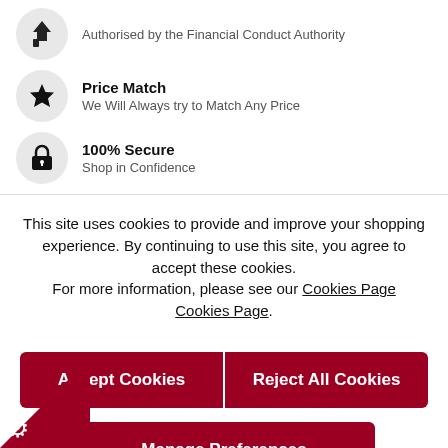Authorised by the Financial Conduct Authority
Price Match – We Will Always try to Match Any Price
100% Secure – Shop in Confidence
This site uses cookies to provide and improve your shopping experience. By continuing to use this site, you agree to accept these cookies. For more information, please see our Cookies Page Cookies Page.
Accept Cookies
Reject All Cookies
Manage Preferences